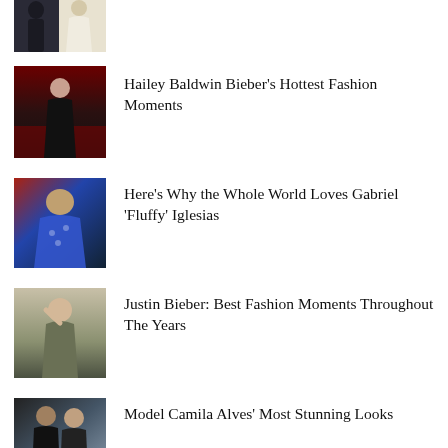[Figure (photo): Couple in formal wear, partially cropped at top]
[Figure (photo): Hailey Baldwin Bieber on red carpet in black outfit]
Hailey Baldwin Bieber's Hottest Fashion Moments
[Figure (photo): Gabriel 'Fluffy' Iglesias in blue floral shirt]
Here's Why the Whole World Loves Gabriel 'Fluffy' Iglesias
[Figure (photo): Justin Bieber in khaki jacket with hand on head]
Justin Bieber: Best Fashion Moments Throughout The Years
[Figure (photo): Model Camila Alves with man at an event]
Model Camila Alves' Most Stunning Looks